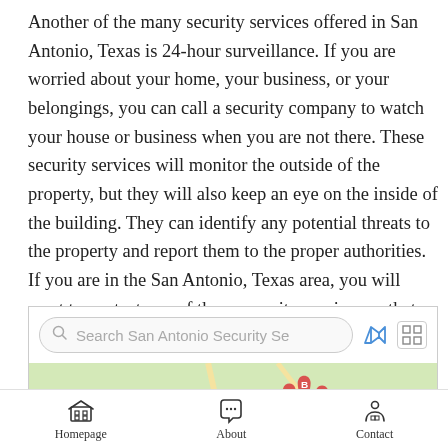Another of the many security services offered in San Antonio, Texas is 24-hour surveillance. If you are worried about your home, your business, or your belongings, you can call a security company to watch your house or business when you are not there. These security services will monitor the outside of the property, but they will also keep an eye on the inside of the building. They can identify any potential threats to the property and report them to the proper authorities. If you are in the San Antonio, Texas area, you will want to contact one of these security services so that you can have a high level of protection that you need.
[Figure (screenshot): Screenshot of a mobile map search interface for San Antonio Security Services, showing a search bar with placeholder text 'Search San Antonio Security Se', map and grid view icons, a partial Google Maps view with location markers labeled A, B, C, and a scroll-up arrow button.]
[Figure (screenshot): Bottom navigation bar with three items: Homepage (house/grid icon), About (chat bubble icon), Contact (person/location pin icon).]